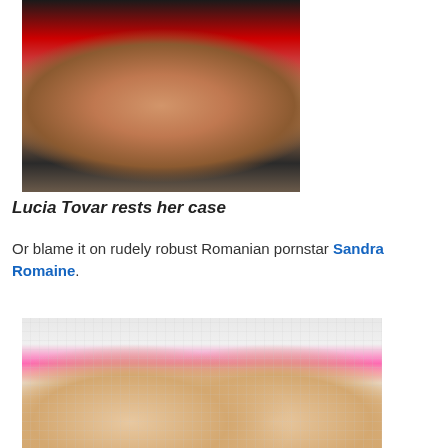[Figure (photo): Woman in red outfit kneeling, viewed from behind]
Lucia Tovar rests her case
Or blame it on rudely robust Romanian pornstar Sandra Romaine.
[Figure (photo): Woman in pink skirt and fishnet top, upskirt view]